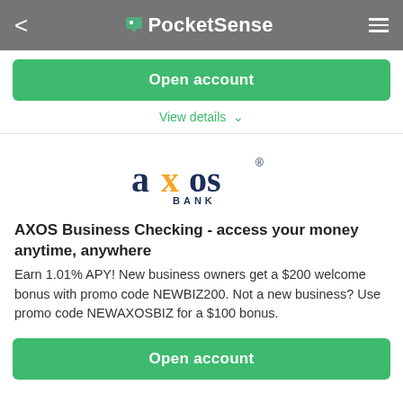PocketSense
Open account
View details
[Figure (logo): Axos Bank logo — 'axos' in dark navy with an orange X, 'BANK' in small caps below]
AXOS Business Checking - access your money anytime, anywhere
Earn 1.01% APY! New business owners get a $200 welcome bonus with promo code NEWBIZ200. Not a new business? Use promo code NEWAXOSBIZ for a $100 bonus.
Open account